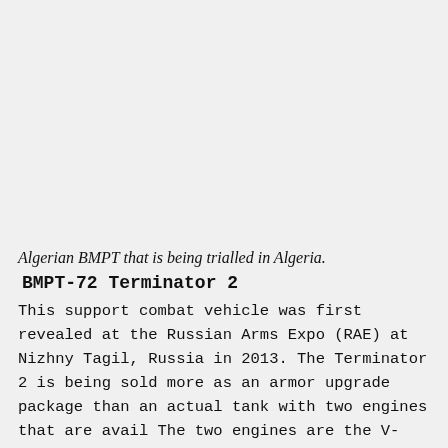[Figure (photo): Photo of an Algerian BMPT tank/combat vehicle being trialled in Algeria — image area appears as light gray placeholder at top of page.]
Algerian BMPT that is being trialled in Algeria.
BMPT-72 Terminator 2
This support combat vehicle was first revealed at the Russian Arms Expo (RAE) at Nizhny Tagil, Russia in 2013. The Terminator 2 is being sold more as an armor upgrade package than an actual tank with two engines that are avail The two engines are the V-84MS (840 hp, 2000 rpm, V12 4-stroke, multi-fuel, liquid cooling